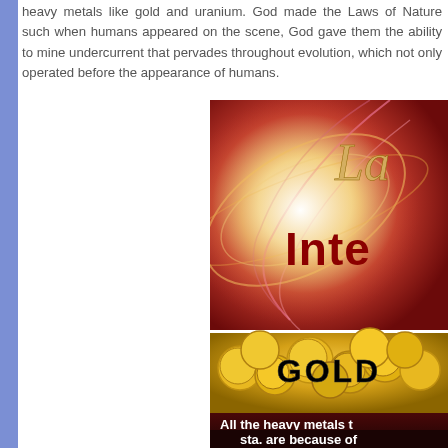heavy metals like gold and uranium. God made the Laws of Nature such when humans appeared on the scene, God gave them the ability to mine undercurrent that pervades throughout evolution, which not only operated before the appearance of humans.
[Figure (illustration): Book cover image with red/orange swirling light effects background, text showing 'La' (partial title) and 'Inte' (partial word, likely 'Intelligence') in dark red bold font. Below that is a photo of gold coins with text 'GOLD' in bold black letters. At the bottom is text 'All the heavy metals t... sta. are because of']